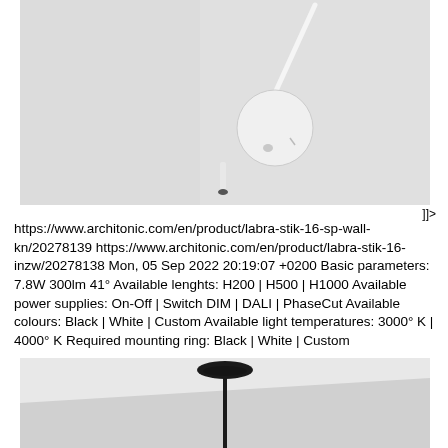[Figure (photo): Close-up photo of a white wall light fixture with circular base and arm on a light grey wall, viewed from below.]
]]> https://www.architonic.com/en/product/labra-stik-16-sp-wall-kn/20278139 https://www.architonic.com/en/product/labra-stik-16-inzw/20278138 Mon, 05 Sep 2022 20:19:07 +0200 Basic parameters: 7.8W 300lm 41° Available lenghts: H200 | H500 | H1000 Available power supplies: On-Off | Switch DIM | DALI | PhaseCut Available colours: Black | White | Custom Available light temperatures: 3000° K | 4000° K Required mounting ring: Black | White | Custom
[Figure (photo): Close-up photo of a black pendant ceiling light fixture hanging from a white ceiling, showing the canopy and thin rod.]